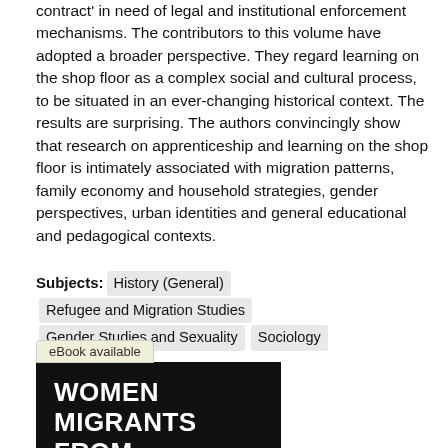contract' in need of legal and institutional enforcement mechanisms. The contributors to this volume have adopted a broader perspective. They regard learning on the shop floor as a complex social and cultural process, to be situated in an ever-changing historical context. The results are surprising. The authors convincingly show that research on apprenticeship and learning on the shop floor is intimately associated with migration patterns, family economy and household strategies, gender perspectives, urban identities and general educational and pedagogical contexts.
Subjects: History (General)  Refugee and Migration Studies  Gender Studies and Sexuality  Sociology
[Figure (illustration): Book cover for 'Women Migrants from East to West: Gender, mobility and belonging in contemporary Europe' with black background and white text, with an 'eBook available' badge above it.]